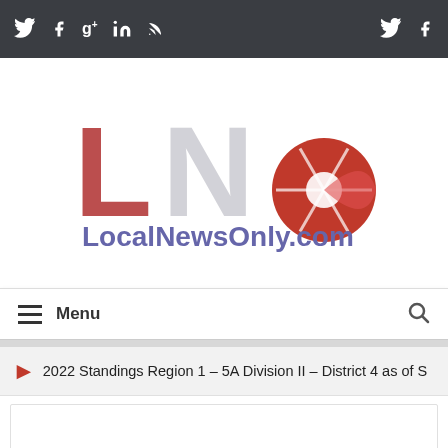Social media icons bar (Twitter, Facebook, Google+, LinkedIn, RSS) | Twitter, Facebook
[Figure (logo): LNO LocalNewsOnly.com logo with large red L N letters and red camera aperture O, blue subtitle text]
Menu
2022 Standings Region 1 – 5A Division II – District 4 as of S